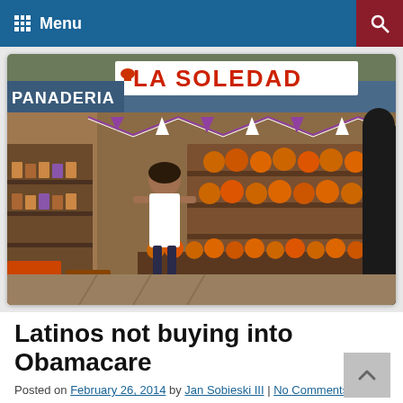Menu
[Figure (photo): A Mexican bakery storefront called 'La Soledad' (Panaderia La Soledad) with a woman standing behind a display of round orange bread rolls on shelves, colorful bunting decorations, and store shelves with various goods in the background.]
Latinos not buying into Obamacare
Posted on February 26, 2014 by Jan Sobieski III | No Comments
Hispanics are shying away from signing up for health